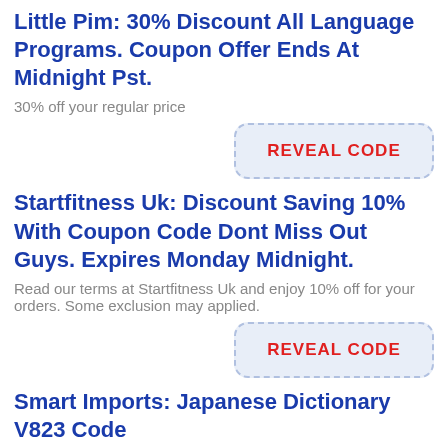Little Pim: 30% Discount All Language Programs. Coupon Offer Ends At Midnight Pst.
30% off your regular price
[Figure (other): REVEAL CODE button with dashed blue border and red text]
Startfitness Uk: Discount Saving 10% With Coupon Code Dont Miss Out Guys. Expires Monday Midnight.
Read our terms at Startfitness Uk and enjoy 10% off for your orders. Some exclusion may applied.
[Figure (other): REVEAL CODE button with dashed blue border and red text]
Smart Imports: Japanese Dictionary V823 Code